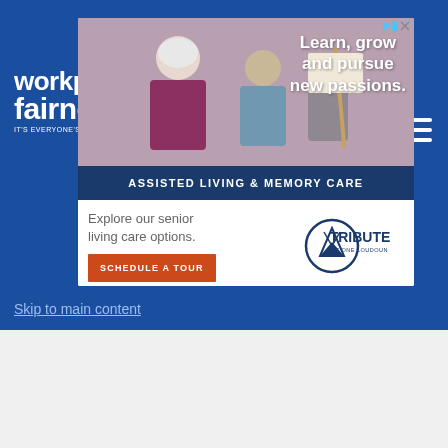[Figure (logo): Workplace Fairness logo with text 'workplace fairness IT'S EVERYONE'S JOB']
[Figure (infographic): Advertisement for Tribute at One Loudoun assisted living and memory care. Top half shows photo of senior woman with others. Text overlay reads 'Learn, grow and pursue new passions.' Dark blue banner reads 'ASSISTED LIVING & MEMORY CARE'. Bottom section shows 'Explore our senior living care options.' with a red 'SCHEDULE A TOUR' button and Tribute at One Loudoun logo.]
Skip to main content